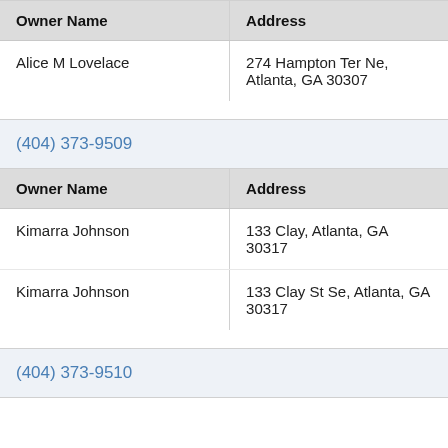| Owner Name | Address |
| --- | --- |
| Alice M Lovelace | 274 Hampton Ter Ne, Atlanta, GA 30307 |
(404) 373-9509
| Owner Name | Address |
| --- | --- |
| Kimarra Johnson | 133 Clay, Atlanta, GA 30317 |
| Kimarra Johnson | 133 Clay St Se, Atlanta, GA 30317 |
(404) 373-9510